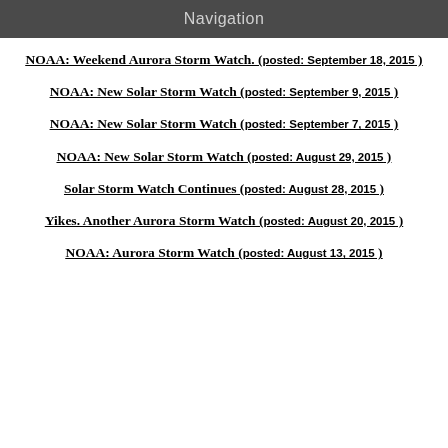Navigation
NOAA: Weekend Aurora Storm Watch. (posted: September 18, 2015 )
NOAA: New Solar Storm Watch (posted: September 9, 2015 )
NOAA: New Solar Storm Watch (posted: September 7, 2015 )
NOAA: New Solar Storm Watch (posted: August 29, 2015 )
Solar Storm Watch Continues (posted: August 28, 2015 )
Yikes. Another Aurora Storm Watch (posted: August 20, 2015 )
NOAA: Aurora Storm Watch (posted: August 13, 2015 )